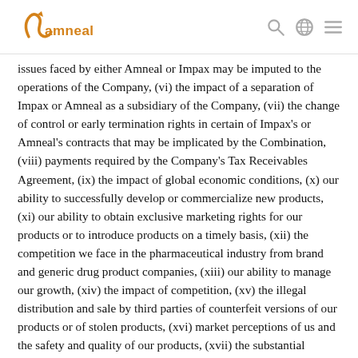Amneal logo with search, globe, and menu icons
issues faced by either Amneal or Impax may be imputed to the operations of the Company, (vi) the impact of a separation of Impax or Amneal as a subsidiary of the Company, (vii) the change of control or early termination rights in certain of Impax's or Amneal's contracts that may be implicated by the Combination, (viii) payments required by the Company's Tax Receivables Agreement, (ix) the impact of global economic conditions, (x) our ability to successfully develop or commercialize new products, (xi) our ability to obtain exclusive marketing rights for our products or to introduce products on a timely basis, (xii) the competition we face in the pharmaceutical industry from brand and generic drug product companies, (xiii) our ability to manage our growth, (xiv) the impact of competition, (xv) the illegal distribution and sale by third parties of counterfeit versions of our products or of stolen products, (xvi) market perceptions of us and the safety and quality of our products, (xvii) the substantial portion of our total revenues derived from sales